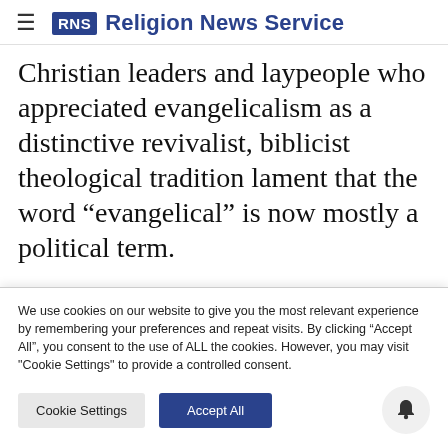RNS Religion News Service
Christian leaders and laypeople who appreciated evangelicalism as a distinctive revivalist, biblicist theological tradition lament that the word “evangelical” is now mostly a political term.
Trump recognized this early in the 2016
We use cookies on our website to give you the most relevant experience by remembering your preferences and repeat visits. By clicking “Accept All”, you consent to the use of ALL the cookies. However, you may visit "Cookie Settings" to provide a controlled consent.